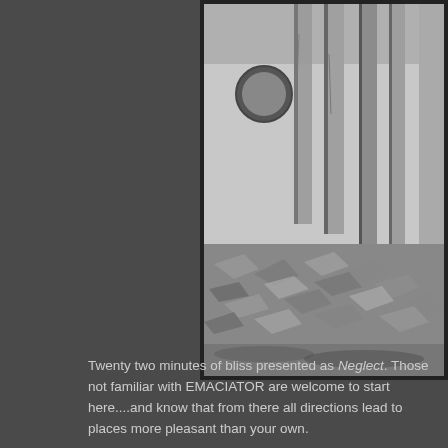[Figure (photo): Black and white photograph showing bombed or destroyed building ruins with rubble and debris on the ground, tall damaged walls or columns visible, partially framed in a dark border. The photo is positioned in the upper right portion of the page.]
Twenty two minutes of bliss presented as Neglect. Those not familiar with EMACIATOR are welcome to start here....and know that from there all directions lead to places more pleasant than your own.